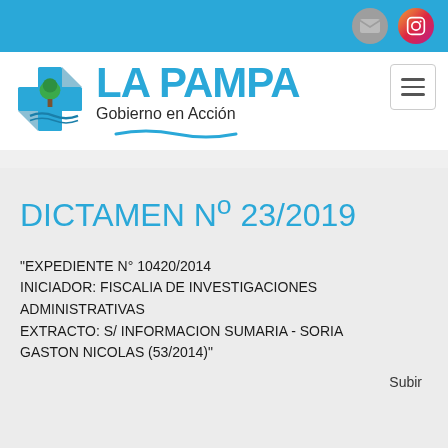La Pampa Gobierno en Acción — navigation bar with mail and Instagram icons
DICTAMEN Nº 23/2019
"EXPEDIENTE N° 10420/2014 INICIADOR: FISCALIA DE INVESTIGACIONES ADMINISTRATIVAS EXTRACTO: S/ INFORMACION SUMARIA - SORIA GASTON NICOLAS (53/2014)"
Subir